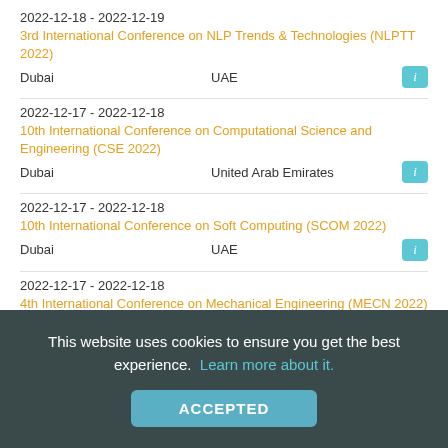2022-12-18 - 2022-12-19
3rd International Conference on NLP Trends & Technologies (NLPTT 2022)
Dubai   UAE
2022-12-17 - 2022-12-18
10th International Conference on Computational Science and Engineering (CSE 2022)
Dubai   United Arab Emirates
2022-12-17 - 2022-12-18
10th International Conference on Soft Computing (SCOM 2022)
Dubai   UAE
2022-12-17 - 2022-12-18
4th International Conference on Mechanical Engineering (MECN 2022)
Dubai, UAE   United Arab Emirates
This website uses cookies to ensure you get the best experience. Learn more about it.
ACCEPTED